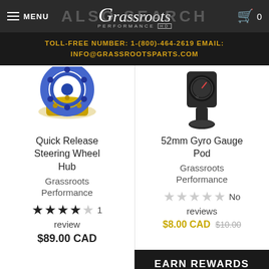MENU | Grassroots Performance | 0
TOLL-FREE NUMBER: 1-(800)-464-2619 EMAIL: INFO@GRASSROOTSPARTS.COM
[Figure (photo): Quick Release Steering Wheel Hub product photo - blue and gold metal hub]
Quick Release Steering Wheel Hub
Grassroots Performance
★★★★☆ 1 review
$89.00 CAD
[Figure (photo): 52mm Gyro Gauge Pod product photo - black gauge pod mount]
52mm Gyro Gauge Pod
Grassroots Performance
☆☆☆☆☆ No reviews
$8.00 CAD $10.00
EARN REWARDS